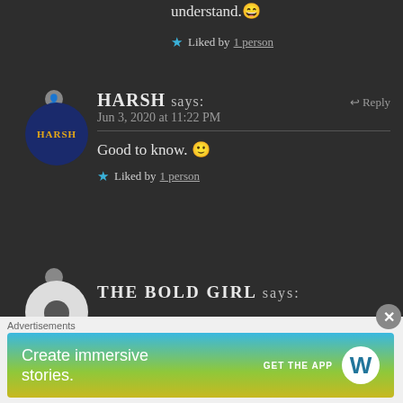understand. 😄
★ Liked by 1 person
HARSH says: Jun 3, 2020 at 11:22 PM — Reply
Good to know. 🙂
★ Liked by 1 person
THE BOLD GIRL says:
Advertisements
[Figure (other): WordPress advertisement banner: 'Create immersive stories. GET THE APP' with WordPress logo]